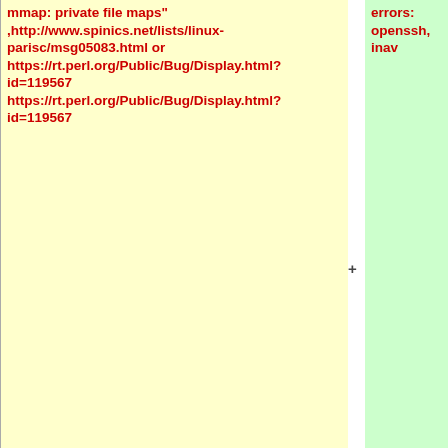mmap: private file maps" ,http://www.spinics.net/lists/linux-parisc/msg05083.html or https://rt.perl.org/Public/Bug/Display.html?id=119567 https://rt.perl.org/Public/Bug/Display.html?id=119567
errors: openssh, inav
** implement .con_font_set (consw) in sticon.c (to be able to change fonts at runtime)
** It looks like haskell packages still fail on qemu (e.g., haskell-swish).
** why does mc hangs when exiting on sticon ?
* "'JAVA"'
** better implementation to get stack pointer (in
** Finish OpenJDK, see patch and mail